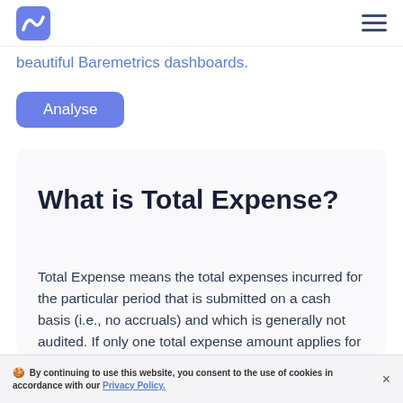Baremetrics logo and navigation menu
beautiful Baremetrics dashboards.
Analyse
What is Total Expense?
Total Expense means the total expenses incurred for the particular period that is submitted on a cash basis (i.e., no accruals) and which is generally not audited. If only one total expense amount applies for a company, that
🍪 By continuing to use this website, you consent to the use of cookies in accordance with our Privacy Policy.